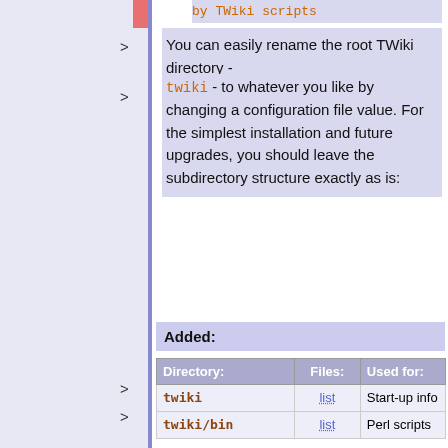by TWiki scripts
You can easily rename the root TWiki directory -
twiki - to whatever you like by changing a configuration file value. For the simplest installation and future upgrades, you should leave the subdirectory structure exactly as is:
Added:
| Directory: | Files: | Used for: |
| --- | --- | --- |
| twiki | list | Start-up info |
| twiki/bin | list | Perl scripts |
| twiki/lib | list | Configuration file & main library |
| twiki/lib/TWiki | list | Perl modules |
| twiki/lib/TWiki/Plugins | list | TWikiPlugins
Perl modules |
| twiki/pub | list | Public support files (or... |